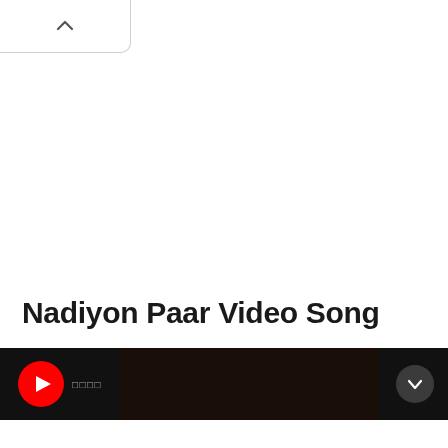[Figure (screenshot): Browser tab bar with up chevron arrow, white background with rounded bottom-right corner]
Nadiyon Paar Video Song
[Figure (screenshot): YouTube video thumbnail strip with YouTube logo (red circle with white play button), dark background showing a face/portrait, and a down chevron circle button on the right]